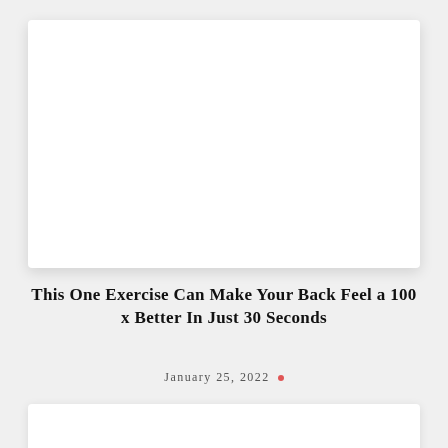[Figure (photo): White blank image card placeholder at the top of the page with shadow]
This One Exercise Can Make Your Back Feel a 100 x Better In Just 30 Seconds
January 25, 2022
[Figure (photo): White blank image card placeholder at the bottom of the page with shadow]